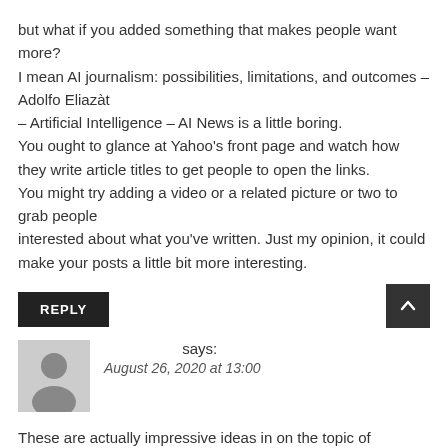but what if you added something that makes people want more?
I mean AI journalism: possibilities, limitations, and outcomes – Adolfo Eliazàt
– Artificial Intelligence – AI News is a little boring.
You ought to glance at Yahoo's front page and watch how they write article titles to get people to open the links.
You might try adding a video or a related picture or two to grab people
interested about what you've written. Just my opinion, it could make your posts a little bit more interesting.
REPLY
says:
August 26, 2020 at 13:00
These are actually impressive ideas in on the topic of